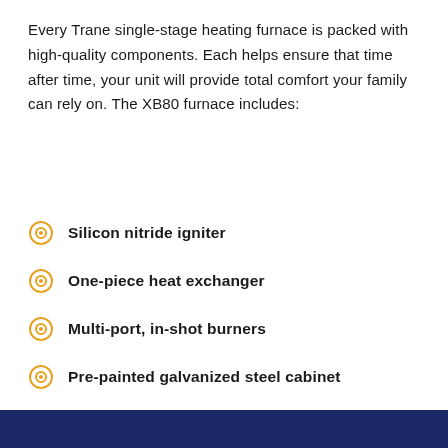Every Trane single-stage heating furnace is packed with high-quality components. Each helps ensure that time after time, your unit will provide total comfort your family can rely on. The XB80 furnace includes:
Silicon nitride igniter
One-piece heat exchanger
Multi-port, in-shot burners
Pre-painted galvanized steel cabinet